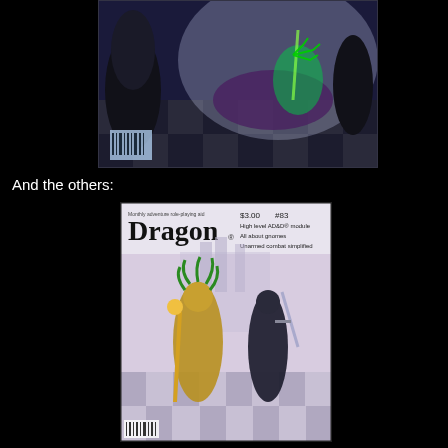[Figure (photo): Dragon magazine cover or fantasy illustration showing a dragon/creature on a chess board with green energy, viewed from above, with a barcode in lower left corner. Dark fantasy art with blue/purple tones.]
And the others:
[Figure (photo): Dragon magazine cover #83, price $3.00, showing fantasy warriors on a chess board. Text reads 'High level AD&D module / All about gnomes / Unarmed combat simplified'. Characters include a medusa-like figure with snakes for hair and another warrior.]